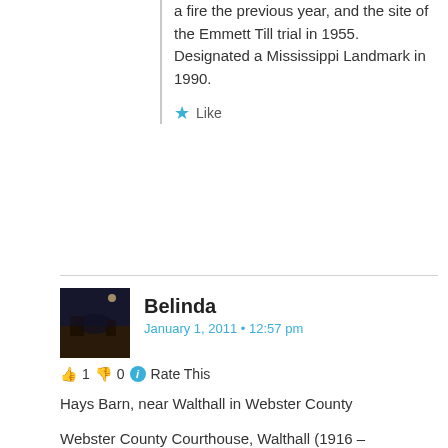a fire the previous year, and the site of the Emmett Till trial in 1955. Designated a Mississippi Landmark in 1990.
Like
Belinda
January 1, 2011 • 12:57 pm
👍 1 👎 0 ℹ Rate This
Hays Barn, near Walthall in Webster County
Webster County Courthouse, Walthall (1916 – Overstreet)
New Hope Presbyterian Church, near Clarkson, Webster County (1846)
former Wells-Lamont factory, Eupora (Overstreet)
Eupora High School (Malvaney, with Overstreet addition)
Like